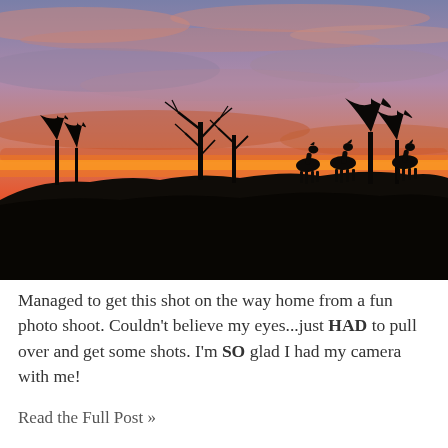[Figure (photo): A dramatic sunset photograph showing three deer silhouetted on a hilltop against a vivid orange, pink, and purple sky. Bare trees are also silhouetted on the ridge. The foreground is a dark rolling hill.]
Managed to get this shot on the way home from a fun photo shoot. Couldn't believe my eyes...just HAD to pull over and get some shots. I'm SO glad I had my camera with me!
Read the Full Post »